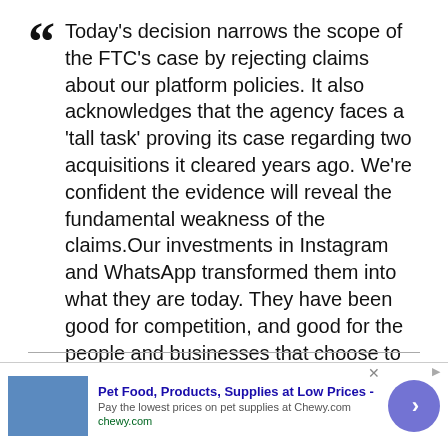Today's decision narrows the scope of the FTC's case by rejecting claims about our platform policies. It also acknowledges that the agency faces a 'tall task' proving its case regarding two acquisitions it cleared years ago. We're confident the evidence will reveal the fundamental weakness of the claims.Our investments in Instagram and WhatsApp transformed them into what they are today. They have been good for competition, and good for the people and businesses that choose to use our products.
Of course, convincing the court that Facebook should
[Figure (other): Advertisement banner for Chewy.com pet supplies. Shows blue product image placeholder, bold text 'Pet Food, Products, Supplies at Low Prices -', description 'Pay the lowest prices on pet supplies at Chewy.com', URL 'chewy.com', and a circular blue arrow button.]